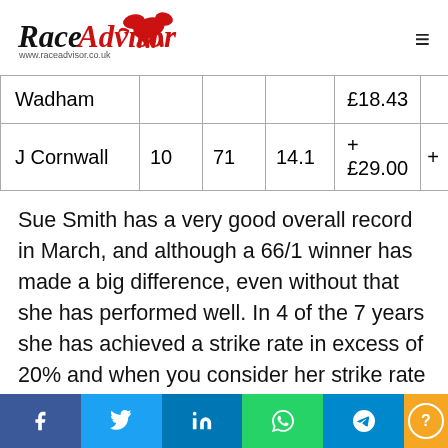Race Advisor — www.raceadvisor.co.uk
| Wadham |  |  |  | £18.43 |  |
| J Cornwall | 10 | 71 | 14.1 | + £29.00 | + |
Sue Smith has a very good overall record in March, and although a 66/1 winner has made a big difference, even without that she has performed well. In 4 of the 7 years she has achieved a strike rate in excess of 20% and when you consider her strike rate for all